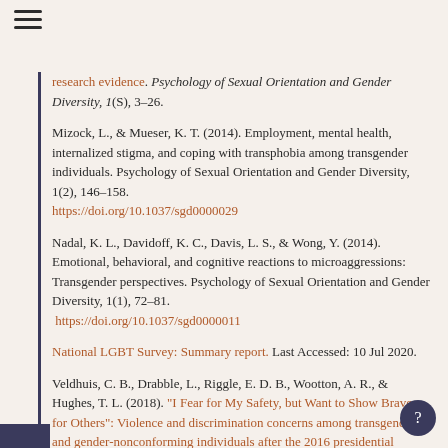research evidence. Psychology of Sexual Orientation and Gender Diversity, 1(S), 3–26.
Mizock, L., & Mueser, K. T. (2014). Employment, mental health, internalized stigma, and coping with transphobia among transgender individuals. Psychology of Sexual Orientation and Gender Diversity, 1(2), 146–158. https://doi.org/10.1037/sgd0000029
Nadal, K. L., Davidoff, K. C., Davis, L. S., & Wong, Y. (2014). Emotional, behavioral, and cognitive reactions to microaggressions: Transgender perspectives. Psychology of Sexual Orientation and Gender Diversity, 1(1), 72–81. https://doi.org/10.1037/sgd0000011
National LGBT Survey: Summary report. Last Accessed: 10 Jul 2020.
Veldhuis, C. B., Drabble, L., Riggle, E. D. B., Wootton, A. R., & Hughes, T. L. (2018). "I Fear for My Safety, but Want to Show Bravery for Others": Violence and discrimination concerns among transgender and gender-nonconforming individuals after the 2016 presidential election. Violence and Gender, 5(1),